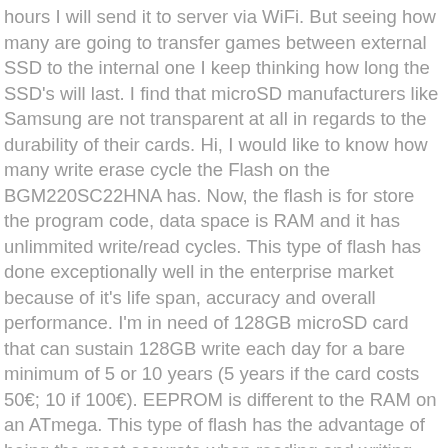hours I will send it to server via WiFi. But seeing how many are going to transfer games between external SSD to the internal one I keep thinking how long the SSD's will last. I find that microSD manufacturers like Samsung are not transparent at all in regards to the durability of their cards. Hi, I would like to know how many write erase cycle the Flash on the BGM220SC22HNA has. Now, the flash is for store the program code, data space is RAM and it has unlimmited write/read cycles. This type of flash has done exceptionally well in the enterprise market because of it's life span, accuracy and overall performance. I'm in need of 128GB microSD card that can sustain 128GB write each day for a bare minimum of 5 or 10 years (5 years if the card costs 50€; 10 if 100€). EEPROM is different to the RAM on an ATmega. This type of flash has the advantage of being the most accurate when reading and writing data, and also has the benefit of lasting the longest data read and write cycles. No one else can do this, ... The first level of indirection is the EEPROM library, which is trivially simple], just calling two other functions for read and write. How many